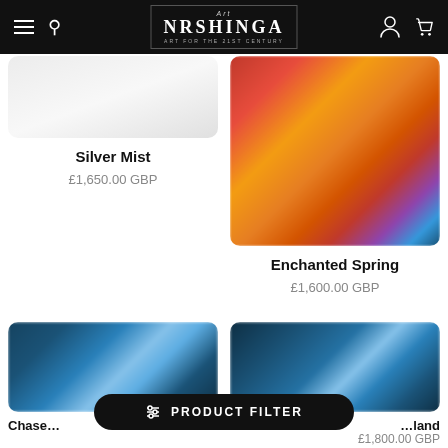Art NRSHINGA — ART FOR THE 21ST CENTURY
[Figure (photo): Partially visible artwork thumbnail for Silver Mist — light grey/white abstract painting]
Silver Mist
£1,650.00 GBP
[Figure (photo): Artwork thumbnail for Enchanted Spring — abstract painting with vivid red, orange, and pink swirling strokes on warm background]
Enchanted Spring
£1,600.00 GBP
[Figure (photo): Artwork thumbnail for Chase — abstract painting with blue tones and dynamic shapes, partially obscured by filter bar]
Chase…
[Figure (photo): Artwork thumbnail for partially visible artwork — blue abstract painting, text partially cut off]
…land
£1,800.00 GBP
⊕ PRODUCT FILTER